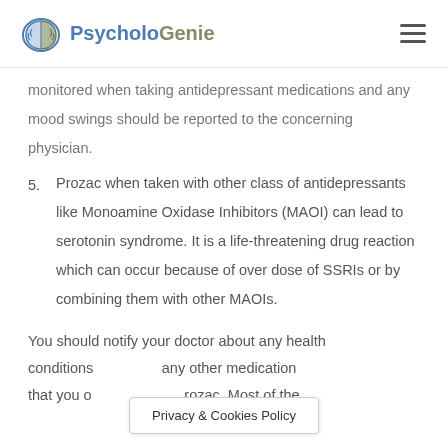PsycholoGenie
monitored when taking antidepressant medications and any mood swings should be reported to the concerning physician.
5. Prozac when taken with other class of antidepressants like Monoamine Oxidase Inhibitors (MAOI) can lead to serotonin syndrome. It is a life-threatening drug reaction which can occur because of over dose of SSRIs or by combining them with other MAOIs.
You should notify your doctor about any health conditions and any other medication that you o... Prozac. Most of the
Privacy & Cookies Policy